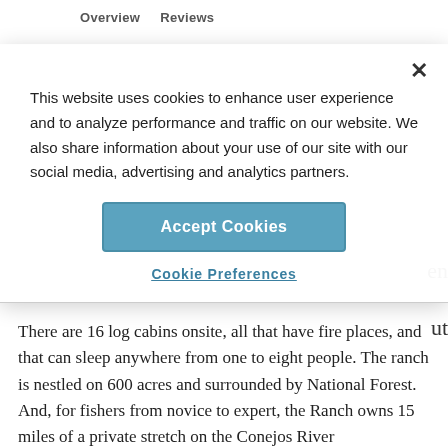Overview   Reviews
This website uses cookies to enhance user experience and to analyze performance and traffic on our website. We also share information about your use of our site with our social media, advertising and analytics partners.
Accept Cookies
Cookie Preferences
There are 16 log cabins onsite, all that have fire places, and that can sleep anywhere from one to eight people. The ranch is nestled on 600 acres and surrounded by National Forest. And, for fishers from novice to expert, the Ranch owns 15 miles of a private stretch on the Conejos River